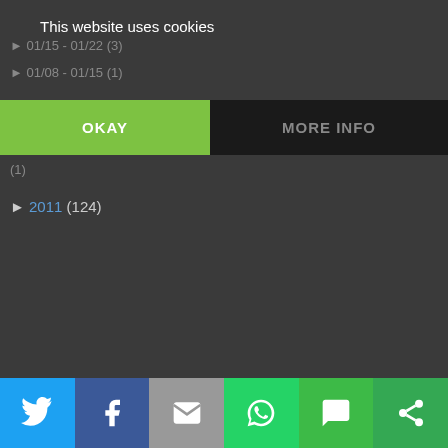This website uses cookies
► 01/15 - 01/22 (3)
► 01/08 - 01/15 (1)
OKAY | MORE INFO
(1)
► 2011 (124)
[Figure (screenshot): Bottom share bar with Twitter, Facebook, Email, WhatsApp, SMS, and Other share buttons]